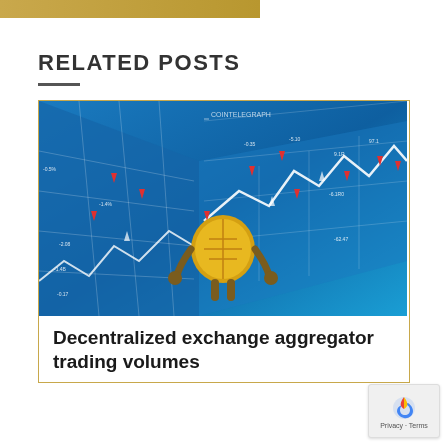RELATED POSTS
[Figure (illustration): Cryptocurrency market chart illustration from CoinTelegraph showing a 3D blue grid room with white line charts, red downward arrows, upward triangles, and a cartoon gold coin character standing in the center]
Decentralized exchange aggregator trading volumes